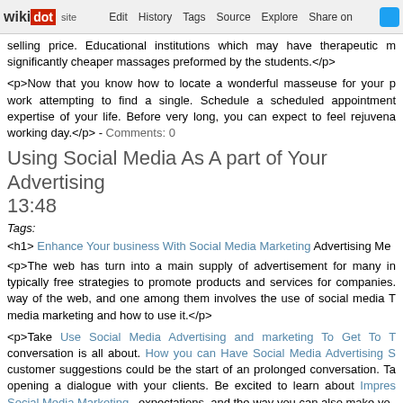wikidot | site | Edit | History | Tags | Source | Explore | Share on Twitter
selling price. Educational institutions which may have therapeutic m significantly cheaper massages preformed by the students.</p>
<p>Now that you know how to locate a wonderful masseuse for your p work attempting to find a single. Schedule a scheduled appointment expertise of your life. Before very long, you can expect to feel rejuvena working day.</p> - Comments: 0
Using Social Media As A part of Your Advertising 13:48
Tags:
<h1> Enhance Your business With Social Media Marketing Advertising Me
<p>The web has turn into a main supply of advertisement for many in typically free strategies to promote products and services for companies. way of the web, and one among them involves the use of social media T media marketing and how to use it.</p>
<p>Take Use Social Media Advertising and marketing To Get To T conversation is all about. How you can Have Social Media Advertising S customer suggestions could be the start of an prolonged conversation. Ta opening a dialogue with your clients. Be excited to learn about Impres Social Media Marketing , expectations, and the way you can also make yo
<p>The first rule of using social media advertising and marketing to prom some more. To achieve success, you are going to need to socialize. If